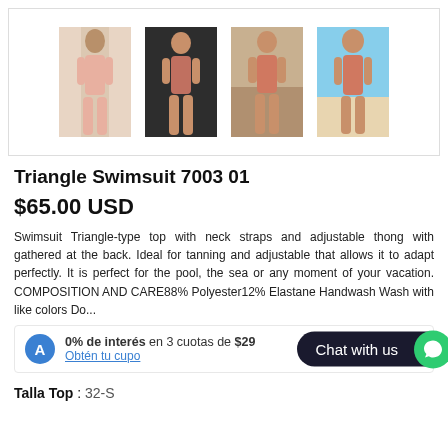[Figure (photo): Four product thumbnail images of a woman wearing a triangle swimsuit from different angles and settings]
Triangle Swimsuit 7003 01
$65.00 USD
Swimsuit Triangle-type top with neck straps and adjustable thong with gathered at the back. Ideal for tanning and adjustable that allows it to adapt perfectly. It is perfect for the pool, the sea or any moment of your vacation. COMPOSITION AND CARE88% Polyester12% Elastane Handwash Wash with like colors Do...
0% de interés en 3 cuotas de $29 Obtén tu cupo
Chat with us
Talla Top : 32-S